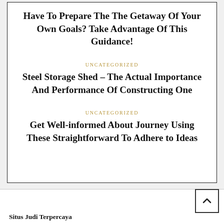Have To Prepare The The Getaway Of Your Own Goals? Take Advantage Of This Guidance!
UNCATEGORIZED
Steel Storage Shed – The Actual Importance And Performance Of Constructing One
UNCATEGORIZED
Get Well-informed About Journey Using These Straightforward To Adhere to Ideas
Situs Judi Terpercaya